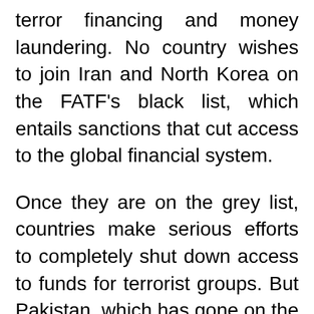terror financing and money laundering. No country wishes to join Iran and North Korea on the FATF's black list, which entails sanctions that cut access to the global financial system.
Once they are on the grey list, countries make serious efforts to completely shut down access to funds for terrorist groups. But Pakistan, which has gone on the grey list at least thrice just in the last decade, seems to be striving to do just enough to avoid the black list. When a recent FATF meeting extended Pakistan's grey listing until June 2020, Pakistan's foreign minister Shah Mahmood Qureshi and elected to the